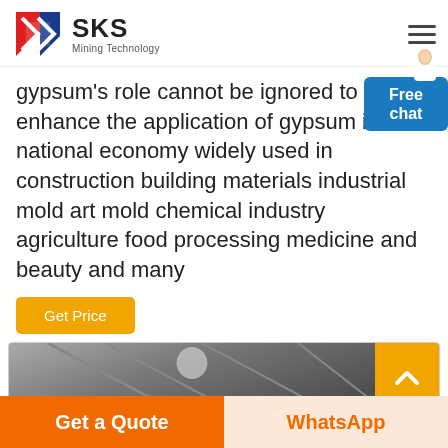SKS Mining Technology
gypsum's role cannot be ignored to enhance the application of gypsum in the national economy widely used in construction building materials industrial mold art mold chemical industry agriculture food processing medicine and beauty and many
Get Price
[Figure (photo): Interior structural ceiling photo with scroll-to-top button overlay]
Get a Quote
WhatsApp